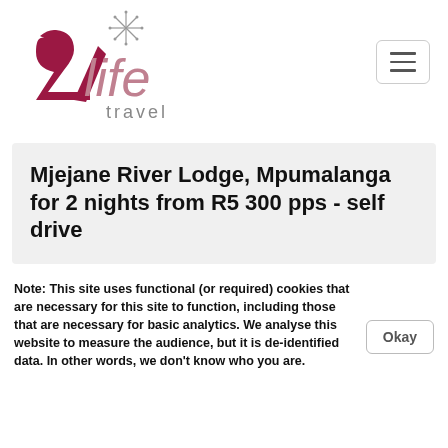[Figure (logo): 2Life Travel logo with star and diagonal slash, dark red and grey text]
Mjejane River Lodge, Mpumalanga for 2 nights from R5 300 pps - self drive
Note: This site uses functional (or required) cookies that are necessary for this site to function, including those that are necessary for basic analytics. We analyse this website to measure the audience, but it is de-identified data. In other words, we don't know who you are.